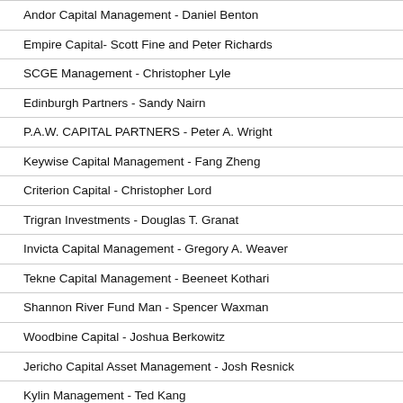Andor Capital Management - Daniel Benton
Empire Capital- Scott Fine and Peter Richards
SCGE Management - Christopher Lyle
Edinburgh Partners - Sandy Nairn
P.A.W. CAPITAL PARTNERS - Peter A. Wright
Keywise Capital Management - Fang Zheng
Criterion Capital - Christopher Lord
Trigran Investments - Douglas T. Granat
Invicta Capital Management - Gregory A. Weaver
Tekne Capital Management - Beeneet Kothari
Shannon River Fund Man - Spencer Waxman
Woodbine Capital - Joshua Berkowitz
Jericho Capital Asset Management - Josh Resnick
Kylin Management - Ted Kang